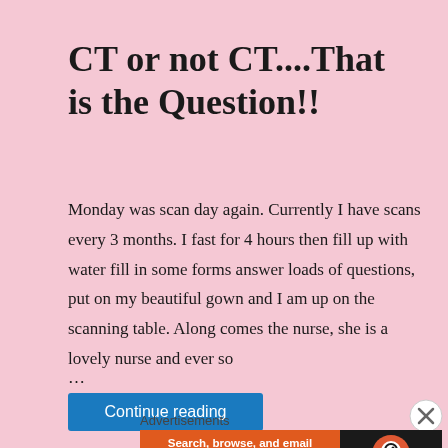CT or not CT....That is the Question!!
Monday was scan day again. Currently I have scans every 3 months. I fast for 4 hours then fill up with water fill in some forms answer loads of questions, put on my beautiful gown and I am up on the scanning table. Along comes the nurse, she is a lovely nurse and ever so
...
Continue reading
Advertisements
[Figure (other): DuckDuckGo advertisement banner: Search, browse, and email with more privacy. All in One Free App]